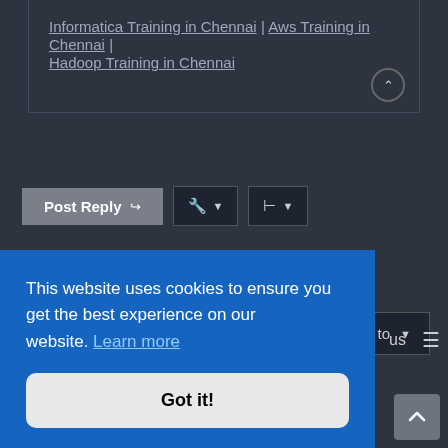Informatica Training in Chennai | Aws Training in Chennai | Hadoop Training in Chennai
Post Reply
6 posts • Page 1 of 1
Jump to
This website uses cookies to ensure you get the best experience on our website. Learn more
Got it!